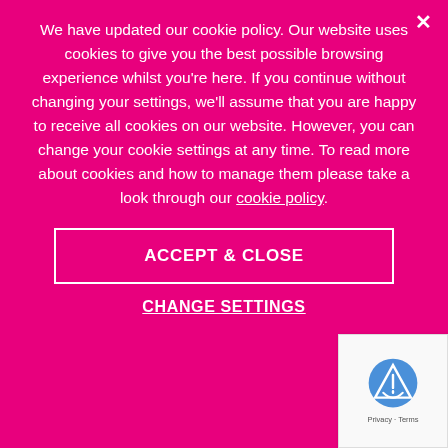We have updated our cookie policy. Our website uses cookies to give you the best possible browsing experience whilst you're here. If you continue without changing your settings, we'll assume that you are happy to receive all cookies on our website. However, you can change your cookie settings at any time. To read more about cookies and how to manage them please take a look through our cookie policy.
ACCEPT & CLOSE
CHANGE SETTINGS
why our guests joke that they won't let on about it! Puy St Vincent...
READ MORE
THE 5 APRÈS SKI MUSTS IN PUY ST VINCENT
BY BEV FEARIS